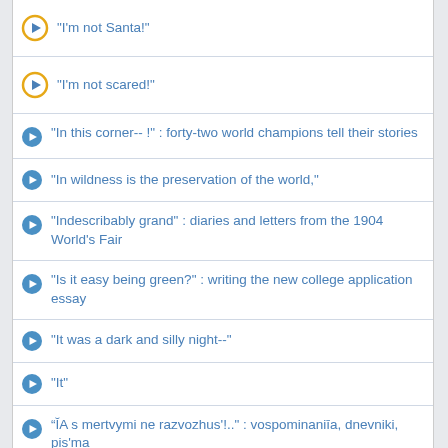"I'm not Santa!"
"I'm not scared!"
"In this corner-- !" : forty-two world champions tell their stories
"In wildness is the preservation of the world,"
"Indescribably grand" : diaries and letters from the 1904 World's Fair
"Is it easy being green?" : writing the new college application essay
"It was a dark and silly night--"
"It"
“ĬA s mertvymi ne razvozhus'!.." : vospominaniīa, dnevniki, pis'ma